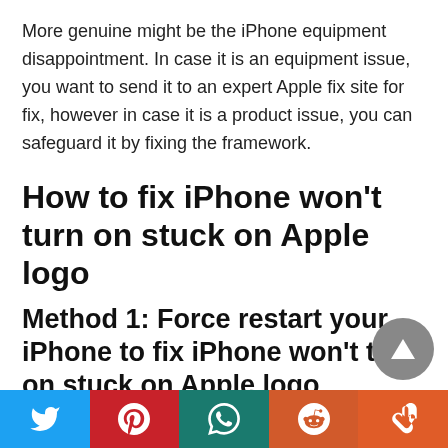More genuine might be the iPhone equipment disappointment. In case it is an equipment issue, you want to send it to an expert Apple fix site for fix, however in case it is a product issue, you can safeguard it by fixing the framework.
How to fix iPhone won't turn on stuck on Apple logo
Method 1: Force restart your iPhone to fix iPhone won't turn on stuck on Apple logo